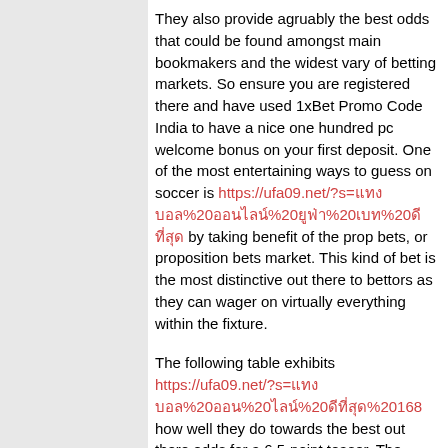They also provide agruably the best odds that could be found amongst main bookmakers and the widest vary of betting markets. So ensure you are registered there and have used 1xBet Promo Code India to have a nice one hundred pc welcome bonus on your first deposit. One of the most entertaining ways to guess on soccer is https://ufa09.net/?s=แทงบอล%20ออนไลน์%20ยูฟ่า%20เบท%20ดีที่สุด by taking benefit of the prop bets, or proposition bets market. This kind of bet is the most distinctive out there to bettors as they can wager on virtually everything within the fixture.
The following table exhibits https://ufa09.net/?s=แทงบอล%20ออน%20ไลน์%20ดีที่สุด%20168 how well they do towards the best out there odds for a 6.5-point teaser. The potential lack of Jackson is big, and if this sport goes forward, the Steelers should be clear favorites. Based on their recent form, the chances of this NFL Week 12 recreation appear to be appropriate.
Similar to the greatest way we are able to determine